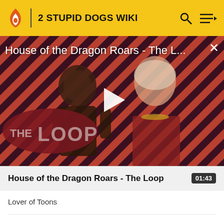2 STUPID DOGS WIKI
[Figure (screenshot): Video thumbnail for 'House of the Dragon Roars - The Loop' showing two characters from the show against a red and black diagonal stripe background with THE LOOP logo overlay and a white play button in the center. Title text overlaid at top reads 'House of the Dragon Roars - The L...' with a close X button.]
House of the Dragon Roars - The Loop
01:43
Lover of Toons
Nov 28, 2010